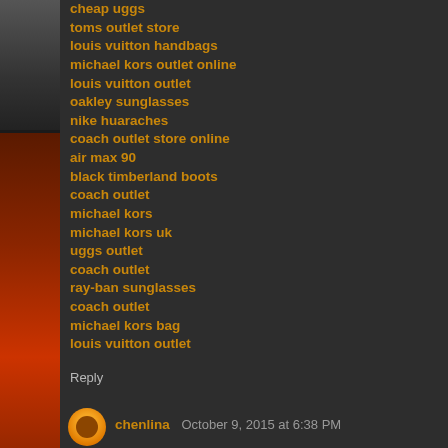cheap uggs
toms outlet store
louis vuitton handbags
michael kors outlet online
louis vuitton outlet
oakley sunglasses
nike huaraches
coach outlet store online
air max 90
black timberland boots
coach outlet
michael kors
michael kors uk
uggs outlet
coach outlet
ray-ban sunglasses
coach outlet
michael kors bag
louis vuitton outlet
Reply
chenlina  October 9, 2015 at 6:38 PM